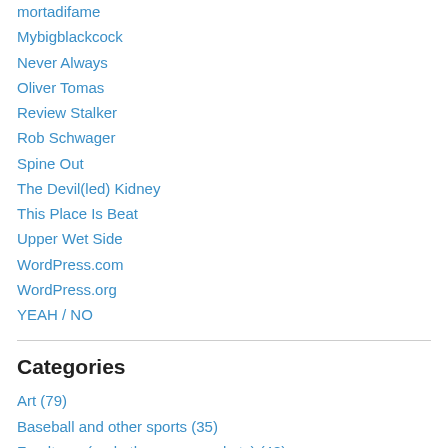mortadifame
Mybigblackcock
Never Always
Oliver Tomas
Review Stalker
Rob Schwager
Spine Out
The Devil(led) Kidney
This Place Is Beat
Upper Wet Side
WordPress.com
WordPress.org
YEAH / NO
Categories
Art (79)
Baseball and other sports (35)
Foodtown (and other supermarkets) (48)